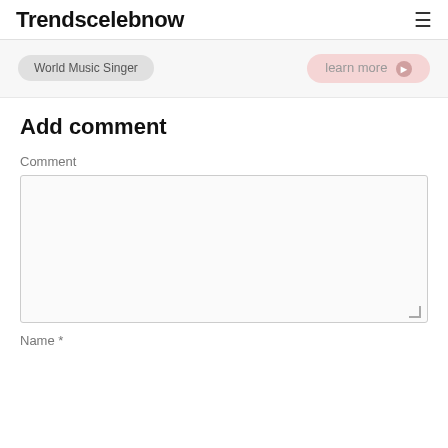Trendscelebnow
World Music Singer
learn more ❯
Add comment
Comment
Name *